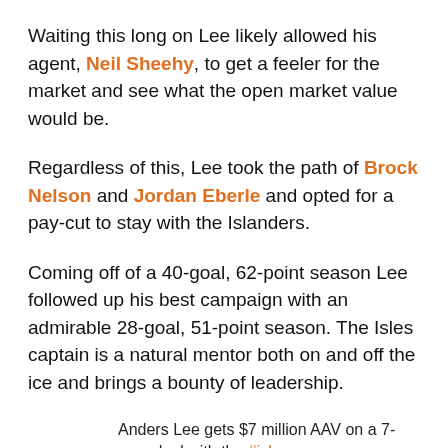Waiting this long on Lee likely allowed his agent, Neil Sheehy, to get a feeler for the market and see what the open market value would be.
Regardless of this, Lee took the path of Brock Nelson and Jordan Eberle and opted for a pay-cut to stay with the Islanders.
Coming off of a 40-goal, 62-point season Lee followed up his best campaign with an admirable 28-goal, 51-point season. The Isles captain is a natural mentor both on and off the ice and brings a bounty of leadership.
Anders Lee gets $7 million AAV on a 7-year deal with the #isles